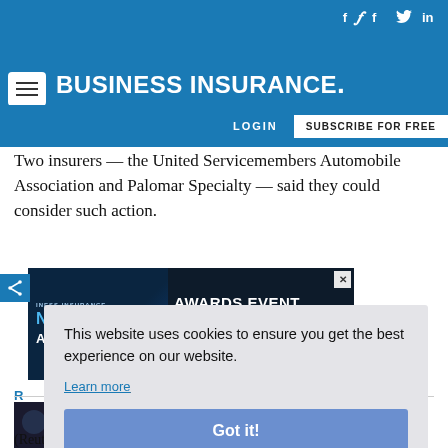BUSINESS INSURANCE
Two insurers — the United Servicemembers Automobile Association and Palomar Specialty — said they could consider such action.
[Figure (screenshot): Advertisement banner for Business Insurance Innovation Awards Event at Ziegfeld Ballroom, NYC, September 14, 2022]
This website uses cookies to ensure you get the best experience on our website.
Learn more
Got it!
(Reuters) — A federal jury ruled on Thursday that Cabot Oil &